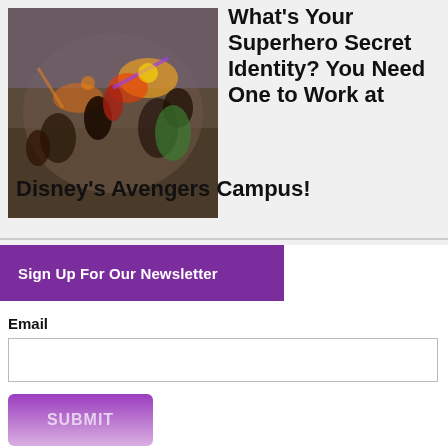[Figure (illustration): Avengers superhero battle scene collage with multiple Marvel characters fighting]
What's Your Superhero Secret Identity? You Need One to Work at Disney's Avengers Campus!
Sign Up For Our Newsletter
Email
SUBMIT